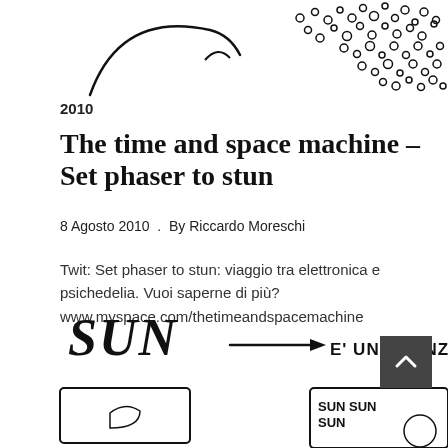[Figure (illustration): Hand-drawn illustration at top: a curved arch/rainbow shape on the left and a cluster of small circles/dots pattern on the upper right, black ink on white]
2010
The time and space machine – Set phaser to stun
8 Agosto 2010 . By Riccardo Moreschi
Twit: Set phaser to stun: viaggio tra elettronica e psichedelia. Vuoi saperne di più? www.myspace.com/thetimeandspacemachine
[Figure (illustration): Hand-drawn illustration at bottom: handwritten text 'SUN' with an arrow pointing right to 'E' UNA CANZONE DI C' (text cut off), and below that two comic-style panels partially visible — left panel shows a figure, right panel shows 'SUN SUN SUN' text with partial image, all in black ink on white]